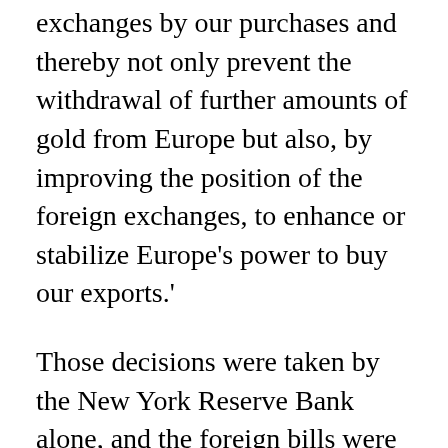exchanges by our purchases and thereby not only prevent the withdrawal of further amounts of gold from Europe but also, by improving the position of the foreign exchanges, to enhance or stabilize Europe's power to buy our exports.'
Those decisions were taken by the New York Reserve Bank alone, and the foreign bills were then distributed pro rata to the other Reserve Banks.[37]
While the New York Reserve Bank was the main generator of inflation and cheap credit,